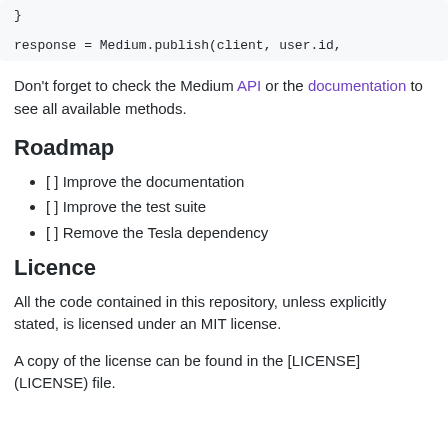}

response = Medium.publish(client, user.id,
Don't forget to check the Medium API or the documentation to see all available methods.
Roadmap
[ ] Improve the documentation
[ ] Improve the test suite
[ ] Remove the Tesla dependency
Licence
All the code contained in this repository, unless explicitly stated, is licensed under an MIT license.
A copy of the license can be found in the [LICENSE] (LICENSE) file.